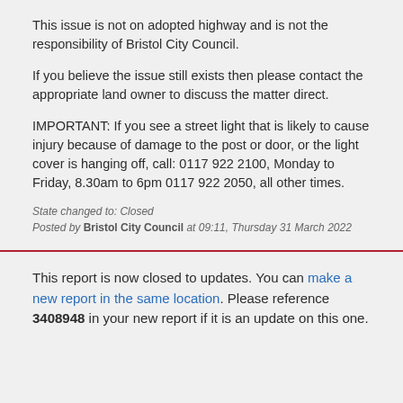This issue is not on adopted highway and is not the responsibility of Bristol City Council.
If you believe the issue still exists then please contact the appropriate land owner to discuss the matter direct.
IMPORTANT: If you see a street light that is likely to cause injury because of damage to the post or door, or the light cover is hanging off, call: 0117 922 2100, Monday to Friday, 8.30am to 6pm 0117 922 2050, all other times.
State changed to: Closed
Posted by Bristol City Council at 09:11, Thursday 31 March 2022
This report is now closed to updates. You can make a new report in the same location. Please reference 3408948 in your new report if it is an update on this one.